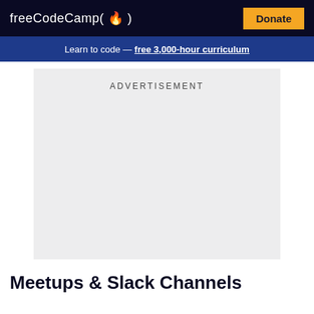freeCodeCamp(🔥)  Donate
Learn to code — free 3,000-hour curriculum
[Figure (other): Advertisement placeholder box with light gray background and 'ADVERTISEMENT' label at top]
Meetups & Slack Channels